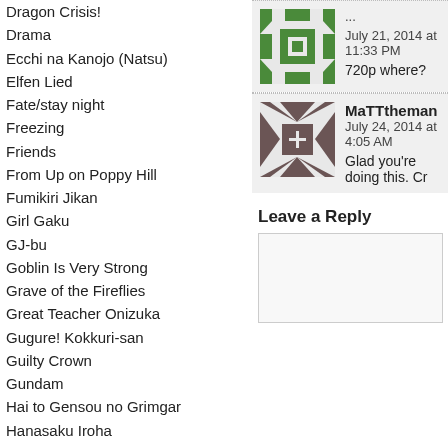Dragon Crisis!
Drama
Ecchi na Kanojo (Natsu)
Elfen Lied
Fate/stay night
Freezing
Friends
From Up on Poppy Hill
Fumikiri Jikan
Girl Gaku
GJ-bu
Goblin Is Very Strong
Grave of the Fireflies
Great Teacher Onizuka
Gugure! Kokkuri-san
Guilty Crown
Gundam
Hai to Gensou no Grimgar
Hanasaku Iroha
Hazuki Kanon
Hen Zemi
Henjyo
HenNeko
Hidan no Aria
Higurashi
Himegoto
Hitoribocchi no OO Seikatsu
Hoshizora e Kakaru Hashi
Howl's Moving Castle
I"s Pure
Iblard Jikan
Ichijouma Mankitsu Gurashi
... July 21, 2014 at 11:33 PM
720p where?
MaTTtheman July 24, 2014 at 4:05 AM
Glad you're doing this. Cr
Leave a Reply